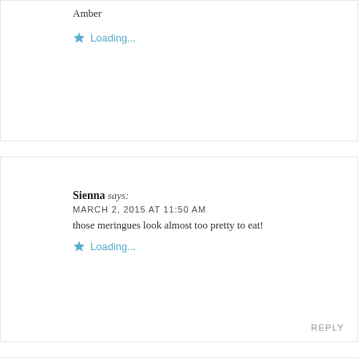Amber
Loading...
REPLY
Sienna says:
MARCH 2, 2015 AT 11:50 AM
those meringues look almost too pretty to eat!
Loading...
REPLY
[Figure (photo): Avatar photo of amber wilson, a person standing in front of a wooden door wearing a denim top and dark pants]
amber wilson says:
MARCH 2, 2015 AT 12:10 PM
Sienna,
Thanks so much, dearie!
x
Amber